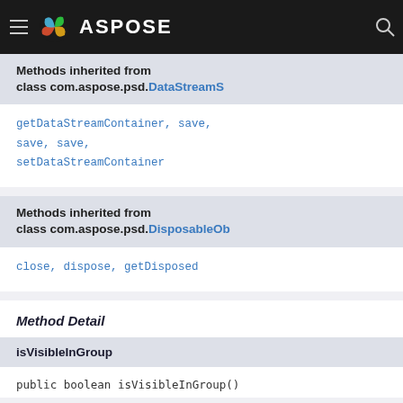ASPOSE
Methods inherited from class com.aspose.psd.DataStreamS...
getDataStreamContainer, save, save, save, setDataStreamContainer
Methods inherited from class com.aspose.psd.DisposableOb...
close, dispose, getDisposed
Method Detail
isVisibleInGroup
public boolean isVisibleInGroup()